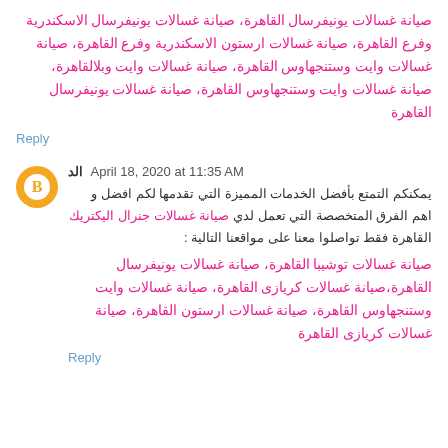صيانة غسالات يونيفرسال القاهرة، صيانة غسالات يونيفرسال الاسكندرية وفرع القاهرة، صيانة غسالات ارستون الاسكندرية وفرع القاهرة، صيانة غسالات وايت وستنجهاوس القاهرة، صيانة غسالات وايت وبلالقاهرة، صيانة غسالات وايت وستنجهاوس القاهرة، صيانة غسالات يونيفرسال القاهرة
Reply
الد  April 18, 2020 at 11:35 AM
يمكنكم التمتع بأفضل الخدمات المميزة التي تقدمها لكم افضل و اهم الفرق المتخصصة التي تعمل لدي صيانة غسالات جنرال اليكتريك القاهرة فقط تواصلوا معنا على مواقعنا التالية :
صيانة غسالات توشيبا القاهرة، صيانة غسالات يونيفرسال القاهرة،صيانة غسالات كريازى القاهرة، صيانة غسالات وايت وستنجهاوس القاهرة، صيانة غسالات ارستون القاهرة، صيانة غسالات كريازى القاهرة
Reply